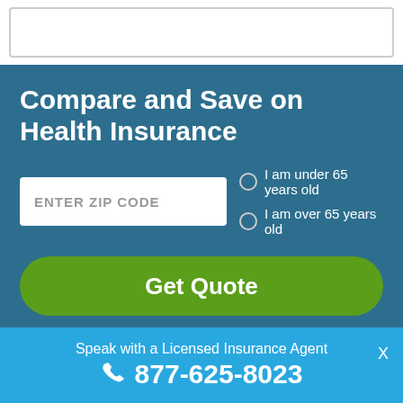[Figure (screenshot): White input bar at the top of the page, partially visible, with a grey border.]
Compare and Save on Health Insurance
ENTER ZIP CODE
I am under 65 years old
I am over 65 years old
Get Quote
Speak with a Licensed Insurance Agent
877-625-8023